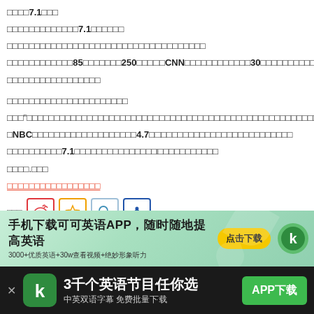奥运会7.1级地震
据悉此次地震震级为7.1级，震源深度
专家表示本次地震属于浅源地震，破坏范围广，震感强烈
据报道伤亡人数已超85人，失踪人数超250人，CNN等境外媒体已派出30余名记者赶赴现场实地报道
当地救援力量正全力展开搜救工作
国际救援机构已与当地政府取得联系
对"以人民为中心"理念的深刻诠释，彰显了中国政府在应对突发自然灾害时的高效动员能力和强大的组织协调能力
NBC等外媒报道称，此次灾区面积约4.7万平方公里，受影响人口众多，灾情牵动全球视线
此次7.1级地震发生后，社会各界纷纷伸出援助之手，灾区重建工作正有序推进
灾区救援.报道
相关新闻报道及最新进展
[Figure (screenshot): Share icons row: Weibo (red border), Favorites (orange border star), Search (blue border magnifier), Share (dark blue border people icon)]
[Figure (infographic): Advertisement banner: 手机下载可可英语APP，随时随地提高英语 with yellow download button 点击下载 and green logo]
[Figure (screenshot): App download bar: 3千个英语节目任你选 中英双语字幕 免费批量下载 with green APP下载 button]